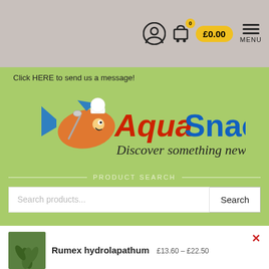0  £0.00  MENU
Click HERE to send us a message!
[Figure (logo): AquaSnack logo with cartoon fish character wearing chef hat and tagline 'Discover something new...']
PRODUCT SEARCH
Search products...
Rumex hydrolapathum  £13.60 – £22.50
SELECT OPTIONS